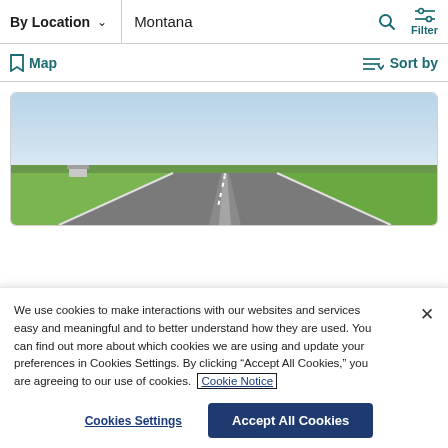By Location  ∨  Montana
Map  |  Sort by
[Figure (photo): Aerial/road-level photo of a straight road stretching into the horizon through flat grassy plains under a pale blue sky, in Montana.]
We use cookies to make interactions with our websites and services easy and meaningful and to better understand how they are used. You can find out more about which cookies we are using and update your preferences in Cookies Settings. By clicking "Accept All Cookies," you are agreeing to our use of cookies.  Cookie Notice
Cookies Settings  |  Accept All Cookies